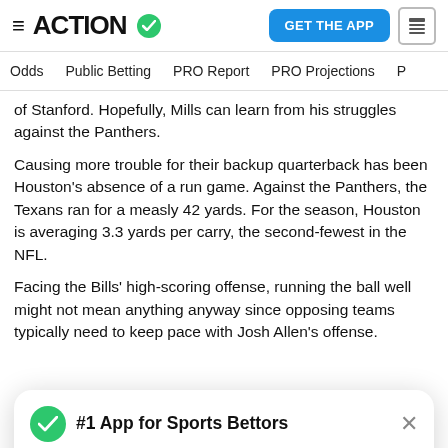ACTION — GET THE APP
Odds  Public Betting  PRO Report  PRO Projections  P
of Stanford. Hopefully, Mills can learn from his struggles against the Panthers.
Causing more trouble for their backup quarterback has been Houston's absence of a run game. Against the Panthers, the Texans ran for a measly 42 yards. For the season, Houston is averaging 3.3 yards per carry, the second-fewest in the NFL.
Facing the Bills' high-scoring offense, running the ball well might not mean anything anyway since opposing teams typically need to keep pace with Josh Allen's offense.
[Figure (screenshot): Modal popup: green checkmark icon, bold text '#1 App for Sports Bettors', X close button, and a green 'GET FREE APP' button]
Houston fails. Buffalo's offense will not be as forgiving as